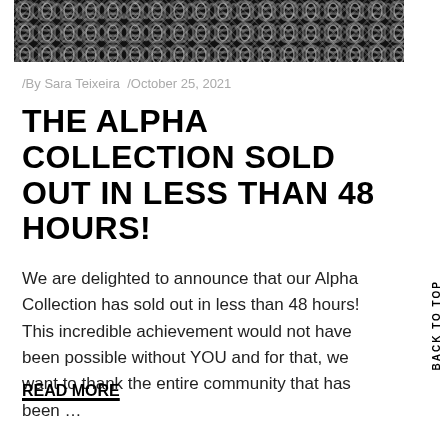[Figure (photo): A black and white close-up image of a chain-link or mesh textile pattern]
/By Sara Teixeira  /October 25, 2021
THE ALPHA COLLECTION SOLD OUT IN LESS THAN 48 HOURS!
We are delighted to announce that our Alpha Collection has sold out in less than 48 hours! This incredible achievement would not have been possible without YOU and for that, we want to thank the entire community that has been …
READ MORE